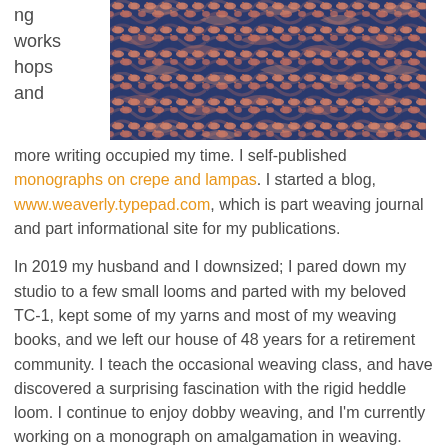ng
works
hops
and
[Figure (photo): Close-up of a woven textile with a blue and salmon/pink geometric pattern, showing detailed weave structure with diagonal and chevron-like motifs.]
more writing occupied my time. I self-published monographs on crepe and lampas. I started a blog, www.weaverly.typepad.com, which is part weaving journal and part informational site for my publications.
In 2019 my husband and I downsized; I pared down my studio to a few small looms and parted with my beloved TC-1, kept some of my yarns and most of my weaving books, and we left our house of 48 years for a retirement community. I teach the occasional weaving class, and have discovered a surprising fascination with the rigid heddle loom. I continue to enjoy dobby weaving, and I'm currently working on a monograph on amalgamation in weaving.